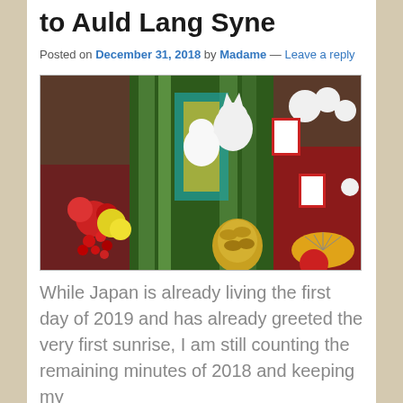to Auld Lang Syne
Posted on December 31, 2018 by Madame — Leave a reply
[Figure (photo): Japanese New Year decorations (kadomatsu/oshogatsu) featuring lucky cat figurines (maneki-neko), bamboo, pine, red berries, flowers, fan decorations, and traditional New Year ornaments displayed in a shop or market setting.]
While Japan is already living the first day of 2019 and has already greeted the very first sunrise, I am still counting the remaining minutes of 2018 and keeping my